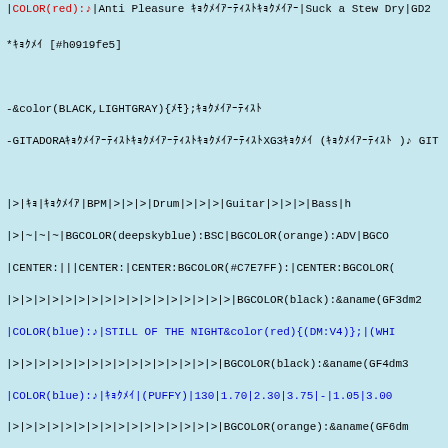|COLOR(red):♪|Anti Pleasure ｷｮｸﾒｲﾏﾀﾊｱｰﾃｨｽﾄ|Suck a Stew Dry|GD2...
*ｷｮｸﾒｲ [#h0919fe5]

-&color(BLACK,LIGHTGRAY){ﾒﾓ};ｷｮｸﾒｲｱｰﾃｨｽﾄ
-GITADORAｷｮｸﾒｲｱｰﾃｨｽﾄｷｮｸﾒｲｱｰﾃｨｽﾄXG3ｷｮｸﾒｲ (ｷｮｸﾒｲｱｰﾃｨｽﾄ )♪ GIT...
|>|ｷｮ|ｷｮｸﾒｲｱ|BPM|>|>|>|Drum|>|>|>|Guitar|>|>|>|Bass|h
|>|~|~|~|BGCOLOR(deepskyblue):BSC|BGCOLOR(orange):ADV|BGCO...
|CENTER:|||CENTER:|CENTER:BGCOLOR(#C7E7FF):|CENTER:BGCOLOR(...
|>|>|>|>|>|>|>|>|>|>|>|>|>|>|>|>|>|BGCOLOR(black):&aname(GF3dm2...
|COLOR(blue):♪|STILL OF THE NIGHT&color(red){(DM:V4)};|(WHI...
|>|>|>|>|>|>|>|>|>|>|>|>|>|>|>|>|BGCOLOR(black):&aname(GF4dm3...
|COLOR(blue):♪|ｷｮｸﾒｲ|(PUFFY)|130|1.70|2.30|3.75|-|1.05|3.00...
|>|>|>|>|>|>|>|>|>|>|>|>|>|>|>|>|BGCOLOR(orange):&aname(GF6dm...
|COLOR(blue):♪|ｷｮｸﾒｲ|(BUMP OF CHICKEN)|165|1.35|3.60|4.60|-...
|>|>|>|>|>|>|>|>|>|>|>|>|>|>|>|>|BGCOLOR(yellow):&aname(GF8dm...
|COLOR(blue):♪|Home Girl|(THE☆SCANTY)|165|2.05|3.65|5.10|-...
|COLOR(blue):♪|RUSSIAN ROULETTE|(ｷｮｸﾒｲ)|173|1.90|4.20|5.60|-...
|COLOR(blue):♪|ｷｮｸﾒｲ|(PENICILLIN)|146|1.30|4.80|5.70|-|1.50...
|>|>|>|>|>|>|>|>|>|>|>|>|>|>|>|>|BGCOLOR(black):&aname(GF9dm8...
|COLOR(blue):♪|CROSS ROAD|(Mr.Children)|87|1.10|1.40|2.80|-...
|COLOR(blue):♪|ｷｮｸﾒｲ|(ｷｮｸﾒｲ)|154|1.32|3.30|4.70|-|1.45|3.45...
|COLOR(blue):♪|ｷｮｸﾒｲ|(ｷｮｸﾒｲ)|97|1.30|2.90|5.20|-|1.25|2.20|4...
|>|>|>|>|>|>|>|>|>|>|>|>|>|>|>|>|BGCOLOR(lightblue):&aname(GF...
|COLOR(blue):♪|TOCCATA|(ｷｮｸﾒｲ / Paul Mauriat)|240|4.55|5.80...
|COLOR(blue):♪|ｷｮ|(Go!Go!7188)|134|2.55|4.90|7.55|-|2.85|3....
|>|>|>|>|>|>|>|>|>|>|>|>|>|>|>|>|BGCOLOR(#ff69b4):&aname(GF1...
|COLOR(blue):♪|Luvly,Merry-Go-Round|(PIPO☆Angel's)|195|2.7...
|COLOR(red):♪|ROLLING1000tOON|ｷｮｸﾒｲ ♪ ｷｮｸﾒｲ|184|1.50|4.90|...